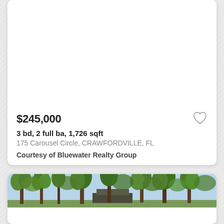$245,000
3 bd, 2 full ba, 1,726 sqft
175 Carousel Circle, CRAWFORDVILLE, FL
Courtesy of Bluewater Realty Group
[Figure (photo): Outdoor scene with tall pine trees and a structure partially visible through the trees, blue sky background]